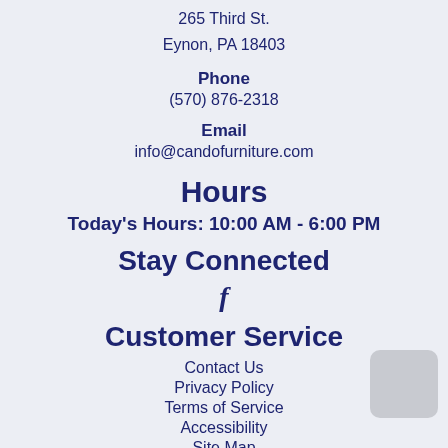265 Third St.
Eynon, PA 18403
Phone
(570) 876-2318
Email
info@candofurniture.com
Hours
Today's Hours: 10:00 AM - 6:00 PM
Stay Connected
f
Customer Service
Contact Us
Privacy Policy
Terms of Service
Accessibility
Site Map